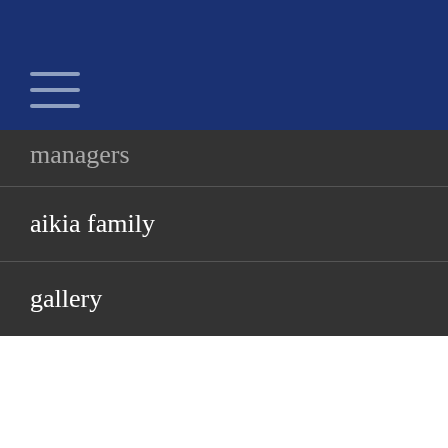[Figure (other): Dark navy blue header bar with hamburger menu icon (three horizontal lines)]
managers
aikia family
gallery